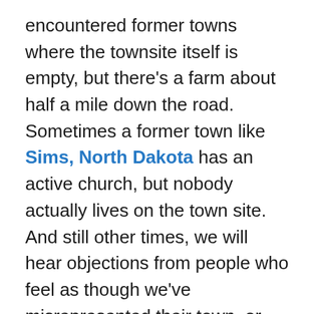encountered former towns where the townsite itself is empty, but there's a farm about half a mile down the road. Sometimes a former town like Sims, North Dakota has an active church, but nobody actually lives on the town site. And still other times, we will hear objections from people who feel as though we've misrepresented their town, or somehow labeled it a ghost town because it appears on this website, in which case we clarify that this site is about ghost towns and abandoned places, like